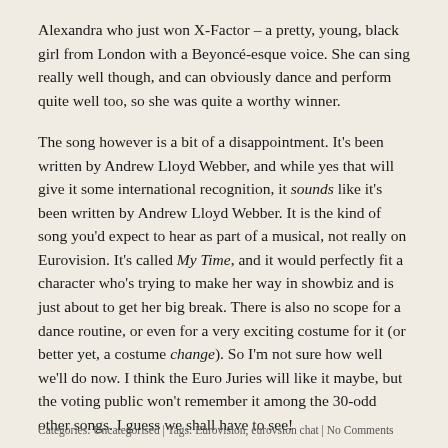Alexandra who just won X-Factor – a pretty, young, black girl from London with a Beyoncé-esque voice. She can sing really well though, and can obviously dance and perform quite well too, so she was quite a worthy winner.
The song however is a bit of a disappointment. It's been written by Andrew Lloyd Webber, and while yes that will give it some international recognition, it sounds like it's been written by Andrew Lloyd Webber. It is the kind of song you'd expect to hear as part of a musical, not really on Eurovision. It's called My Time, and it would perfectly fit a character who's trying to make her way in showbiz and is just about to get her big break. There is also no scope for a dance routine, or even for a very exciting costume for it (or better yet, a costume change). So I'm not sure how well we'll do now. I think the Euro Juries will like it maybe, but the voting public won't remember it among the 30-odd other songs. I guess we shall have to see!
Categories: Uncategorised | Tags: Eurovision, eurovsion chat | No Comments